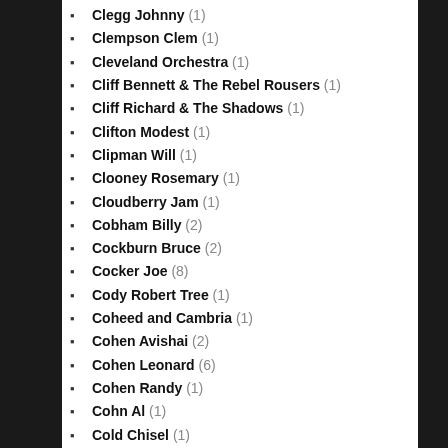Clegg Johnny (1)
Clempson Clem (1)
Cleveland Orchestra (1)
Cliff Bennett & The Rebel Rousers (1)
Cliff Richard & The Shadows (1)
Clifton Modest (1)
Clipman Will (1)
Clooney Rosemary (1)
Cloudberry Jam (1)
Cobham Billy (2)
Cockburn Bruce (2)
Cocker Joe (8)
Cody Robert Tree (1)
Coheed and Cambria (1)
Cohen Avishai (2)
Cohen Leonard (6)
Cohen Randy (1)
Cohn Al (1)
Cold Chisel (1)
Coldplay (1)
Cole Buddy (1)